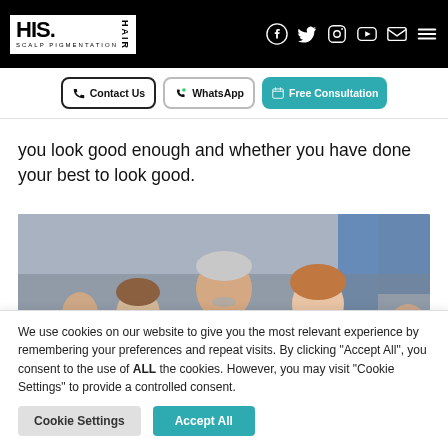HIS Hair Scalp Pigmentation — navigation bar with social icons (Facebook, Twitter, Instagram, YouTube, Email, Menu)
Contact Us | WhatsApp | Free Consultation
you look good enough and whether you have done your best to look good.
[Figure (photo): A smiling older man with grey hair and moustache hugging two children — a boy with glasses on the left and a girl on the right — outdoors with a building in the background.]
We use cookies on our website to give you the most relevant experience by remembering your preferences and repeat visits. By clicking "Accept All", you consent to the use of ALL the cookies. However, you may visit "Cookie Settings" to provide a controlled consent.
Cookie Settings | Accept All